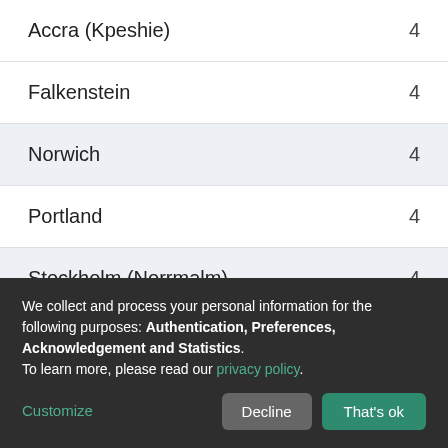| City | Count |
| --- | --- |
| Accra (Kpeshie) | 4 |
| Falkenstein | 4 |
| Norwich | 4 |
| Portland | 4 |
| Stockholm (Norrmalm) | 4 |
| Accra (Osu Klottey) | 3 |
| Addis Ababa | 3 |
| Cape Town | 3 |
We collect and process your personal information for the following purposes: Authentication, Preferences, Acknowledgement and Statistics. To learn more, please read our privacy policy.